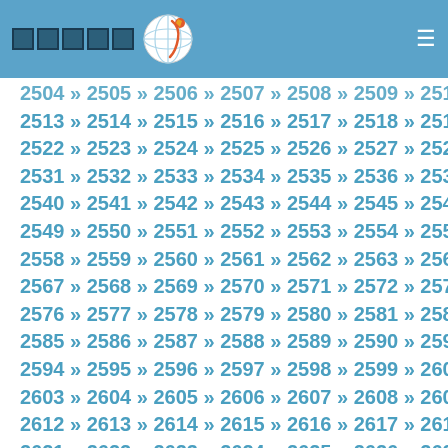Navigation page with logo and hamburger menu
2504 » 2505 » 2506 » 2507 » 2508 » 2509 » 2510 » 2511 » 2512 » 2513 » 2514 » 2515 » 2516 » 2517 » 2518 » 2519 » 2520 » 2521 » 2522 » 2523 » 2524 » 2525 » 2526 » 2527 » 2528 » 2529 » 2530 » 2531 » 2532 » 2533 » 2534 » 2535 » 2536 » 2537 » 2538 » 2539 » 2540 » 2541 » 2542 » 2543 » 2544 » 2545 » 2546 » 2547 » 2548 » 2549 » 2550 » 2551 » 2552 » 2553 » 2554 » 2555 » 2556 » 2557 » 2558 » 2559 » 2560 » 2561 » 2562 » 2563 » 2564 » 2565 » 2566 » 2567 » 2568 » 2569 » 2570 » 2571 » 2572 » 2573 » 2574 » 2575 » 2576 » 2577 » 2578 » 2579 » 2580 » 2581 » 2582 » 2583 » 2584 » 2585 » 2586 » 2587 » 2588 » 2589 » 2590 » 2591 » 2592 » 2593 » 2594 » 2595 » 2596 » 2597 » 2598 » 2599 » 2600 » 2601 » 2602 » 2603 » 2604 » 2605 » 2606 » 2607 » 2608 » 2609 » 2610 » 2611 » 2612 » 2613 » 2614 » 2615 » 2616 » 2617 » 2618 » 2619 » 2620 » 2621 » 2622 » 2623 » 2624 » 2625 » 2626 » 2627 » 2628 » 2629 » 2630 » 2631 » 2632 » 2633 » 2634 » 2635 » 2636 » 2637 » 2638 » 2639 » 2640 » 2641 » 2642 » 2643 » 2644 » 2645 » 2646 » 2647 » 2648 » 2649 » 2650 » 2651 » 2652 » 2653 » 2654 » 2655 » 2656 » 2657 » 2658 » 2659 » 2660 » 2661 » 2662 » 2663 » 2664 » 2665 » 2666 » 2667 » 2668 » 2669 » 2670 » 2671 » 2672 » 2673 » 2674 » 2675 » 2676 » 2677 » 2678 » 2679 » 2680 » 2681 » 2682 » 2683 » 2684 » 2685 » 2686 » 2687 » 2688 » 2689 » 2690 » 2691 » 2692 » 2693 » 2694 » 2695 » 2696 » 2697 » 2698 » 2699 » 2700 » 2701